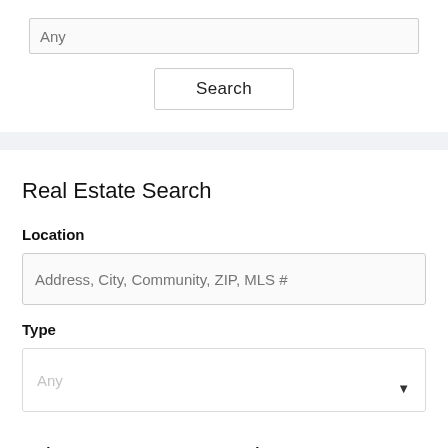[Figure (screenshot): Search input field with placeholder text 'Any' and a Search button below it, part of a web UI]
Real Estate Search
Location
[Figure (screenshot): Text input field with placeholder 'Address, City, Community, ZIP, MLS #']
Type
[Figure (screenshot): Dropdown select field showing 'Any' with a dropdown arrow]
Beds
Baths
[Figure (screenshot): Two side-by-side dropdown selects, both showing 'Any' with dropdown arrows, for Beds and Baths]